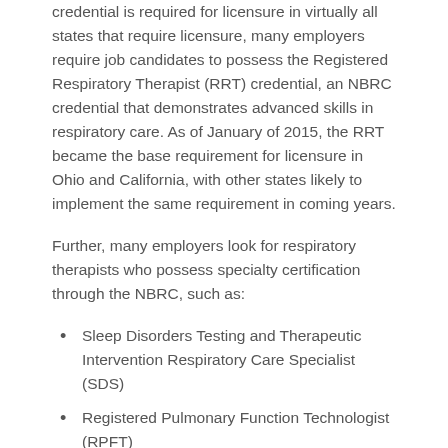credential is required for licensure in virtually all states that require licensure, many employers require job candidates to possess the Registered Respiratory Therapist (RRT) credential, an NBRC credential that demonstrates advanced skills in respiratory care. As of January of 2015, the RRT became the base requirement for licensure in Ohio and California, with other states likely to implement the same requirement in coming years.
Further, many employers look for respiratory therapists who possess specialty certification through the NBRC, such as:
Sleep Disorders Testing and Therapeutic Intervention Respiratory Care Specialist (SDS)
Registered Pulmonary Function Technologist (RPFT)